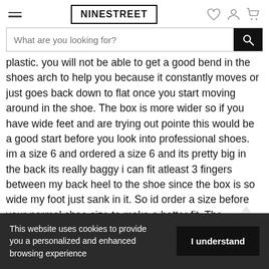NINESTREET
What are you looking for?
plastic. you will not be able to get a good bend in the shoes arch to help you because it constantly moves or just goes back down to flat once you start moving around in the shoe. The box is more wider so if you have wide feet and are trying out pointe this would be a good start before you look into professional shoes. im a size 6 and ordered a size 6 and its pretty big in the back its really baggy i can fit atleast 3 fingers between my back heel to the shoe since the box is so wide my foot just sank in it. So id order a size before your normal shoe size to make a better fit. The packaging is really nice came with a mesh bag for the shoes to breathe and gel toe pads which are extremely nice
This website uses cookies to provide you a personalized and enhanced browsing experience
I understand